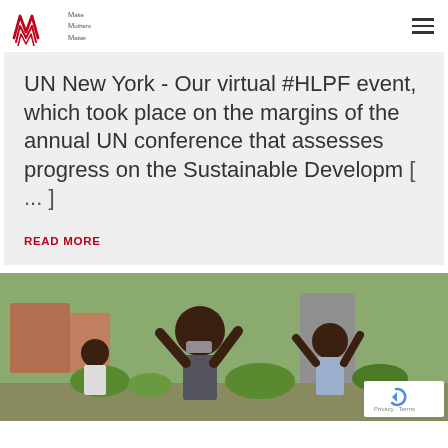Make Mothers Matter
UN New York - Our virtual #HLPF event, which took place on the margins of the annual UN conference that assesses progress on the Sustainable Developm [ ... ]
READ MORE
[Figure (photo): Children outdoors raising their hands, buildings and greenery in background]